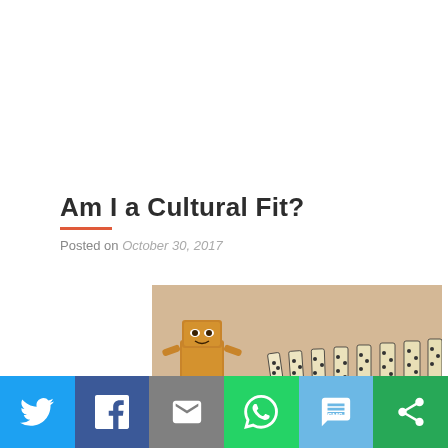Am I a Cultural Fit?
Posted on October 30, 2017
[Figure (photo): A cardboard box figure character (Danbo) standing in front of a row of falling dominos, on a wooden surface with blurred background.]
[Figure (infographic): Social media share bar with Twitter, Facebook, Email, WhatsApp, SMS, and ShareThis buttons.]